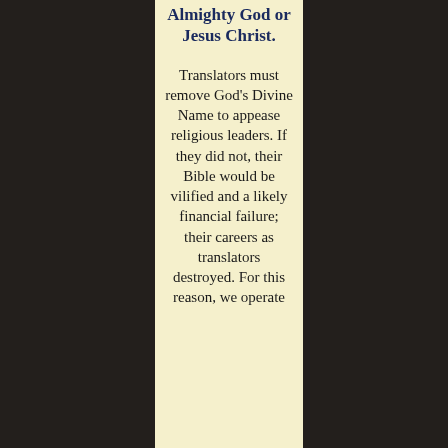Almighty God or Jesus Christ.
Translators must remove God's Divine Name to appease religious leaders. If they did not, their Bible would be vilified and a likely financial failure; their careers as translators destroyed. For this reason, we operate